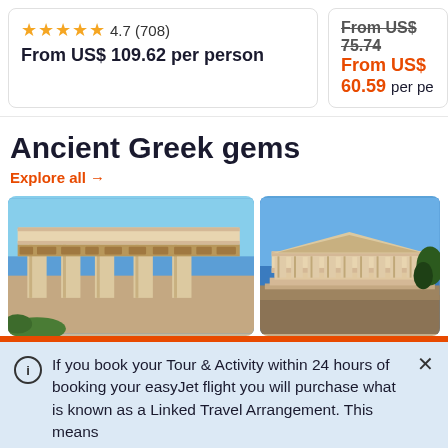4.7 (708) From US$ 109.62 per person
From US$ 75.74 From US$ 60.59 per pe
Ancient Greek gems
Explore all →
[Figure (photo): Ancient Greek temple ruins with carved stone columns against blue sky]
[Figure (photo): Parthenon columns on rocky hillside against blue sky]
ⓘ  If you book your Tour & Activity within 24 hours of booking your easyJet flight you will purchase what is known as a Linked Travel Arrangement. This means
GetYourGuide uses cookies to give you the best possible service. If you continue browsing, you agree to the use of cookies. More details can be found in our privacy policy.